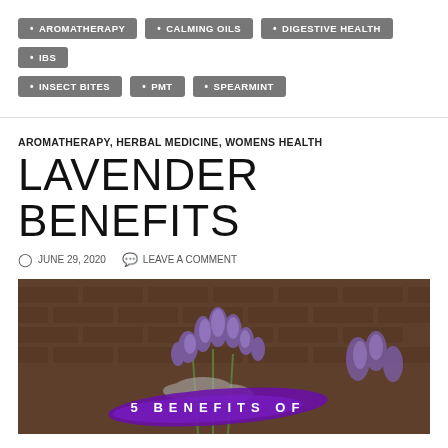AROMATHERAPY
CALMING OILS
DIGESTIVE HEALTH
IBS
INSECT BITES
PMT
SPEARMINT
AROMATHERAPY, HERBAL MEDICINE, WOMENS HEALTH
LAVENDER BENEFITS
JUNE 29, 2020   LEAVE A COMMENT
[Figure (photo): Close-up photo of lavender flowers against a brick wall background, with a purple brush stroke overlay and text '5 BENEFITS OF']